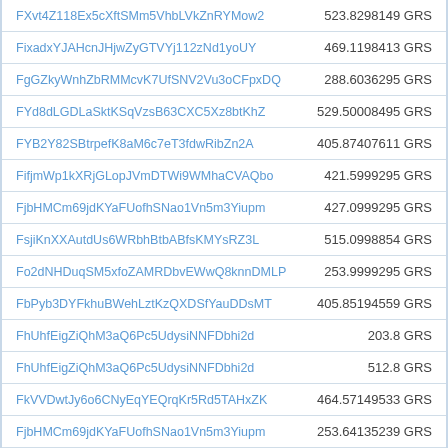| Address | Amount |
| --- | --- |
| FXvt4Z118Ex5cXftSMm5VhbLVkZnRYMow2 | 523.8298149 GRS |
| FixadxYJAHcnJHjwZyGTVYj112zNd1yoUY | 469.1198413 GRS |
| FgGZkyWnhZbRMMcvK7UfSNV2Vu3oCFpxDQ | 288.6036295 GRS |
| FYd8dLGDLaSktKSqVzsB63CXC5Xz8btKhZ | 529.50008495 GRS |
| FYB2Y82SBtrpefK8aM6c7eT3fdwRibZn2A | 405.87407611 GRS |
| FifjmWp1kXRjGLopJVmDTWi9WMhaCVAQbo | 421.5999295 GRS |
| FjbHMCm69jdKYaFUofhSNao1Vn5m3Yiupm | 427.0999295 GRS |
| FsjiKnXXAutdUs6WRbhBtbABfsKMYsRZ3L | 515.0998854 GRS |
| Fo2dNHDuqSM5xfoZAMRDbvEWwQ8knnDMLP | 253.9999295 GRS |
| FbPyb3DYFkhuBWehLztKzQXDSfYauDDsMT | 405.85194559 GRS |
| FhUhfEigZiQhM3aQ6Pc5UdysiNNFDbhi2d | 203.8 GRS |
| FhUhfEigZiQhM3aQ6Pc5UdysiNNFDbhi2d | 512.8 GRS |
| FkVVDwtJy6o6CNyEqYEQrqKr5Rd5TAHxZK | 464.57149533 GRS |
| FjbHMCm69jdKYaFUofhSNao1Vn5m3Yiupm | 253.64135239 GRS |
| FnVPydiUiKDQ5H1WuuoZ8Z6iPF97kESR6F | 202.7999295 GRS |